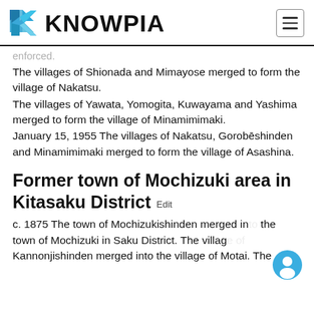KNOWPIA
enforced.
The villages of Shionada and Mimayose merged to form the village of Nakatsu.
The villages of Yawata, Yomogita, Kuwayama and Yashima merged to form the village of Minamimimaki.
January 15, 1955 The villages of Nakatsu, Gorobēshinden and Minamimimaki merged to form the village of Asashina.
Former town of Mochizuki area in Kitasaku District  Edit
c. 1875 The town of Mochizukishinden merged into the town of Mochizuki in Saku District. The village of Kannonjishinden merged into the village of Motai. The